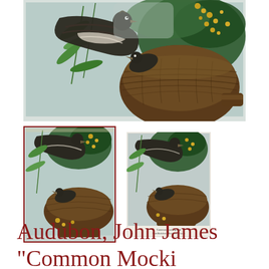[Figure (illustration): Large close-up detail of an Audubon bird illustration showing birds with a woven nest, green leaves and yellow flowers against a light blue-grey background.]
[Figure (illustration): Thumbnail of full Audubon plate showing birds around a woven nest with yellow flowers and green leaves, selected (red border).]
[Figure (illustration): Thumbnail of full Audubon plate showing birds around a woven nest with yellow flowers and green leaves, with printed caption text below.]
Audubon, John James "Common Mocki...